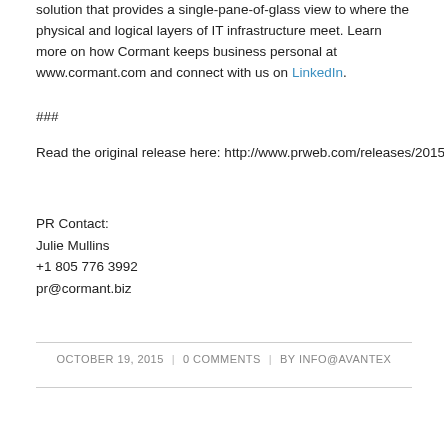solution that provides a single-pane-of-glass view to where the physical and logical layers of IT infrastructure meet. Learn more on how Cormant keeps business personal at www.cormant.com and connect with us on LinkedIn.
###
Read the original release here: http://www.prweb.com/releases/2015/09/prweb12965925
PR Contact:
Julie Mullins
+1 805 776 3992
pr@cormant.biz
OCTOBER 19, 2015 | 0 COMMENTS | BY INFO@AVANTEX